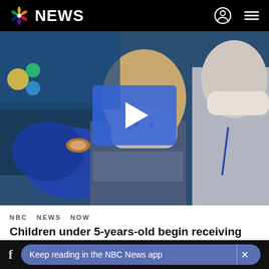NBC NEWS
[Figure (photo): A child receiving a Covid vaccine injection from a gloved healthcare worker, with a doctor in a white coat watching. The child wears a colorful print mask. Blue hospital backdrop visible. A blue video play button overlay is centered on the image.]
NBC NEWS NOW
Children under 5-years-old begin receiving Covid vaccine
Keep reading in the NBC News app